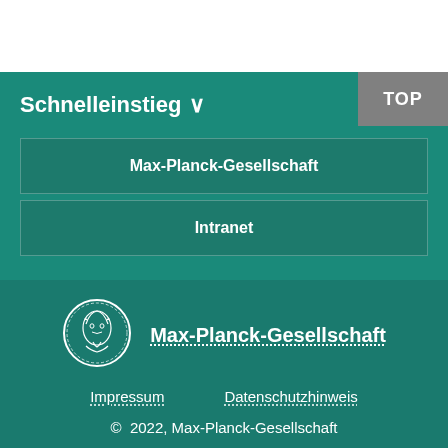Schnelleinstieg
Max-Planck-Gesellschaft
Intranet
[Figure (logo): Max-Planck-Gesellschaft circular logo with Minerva head]
Max-Planck-Gesellschaft
Impressum
Datenschutzhinweis
© 2022, Max-Planck-Gesellschaft